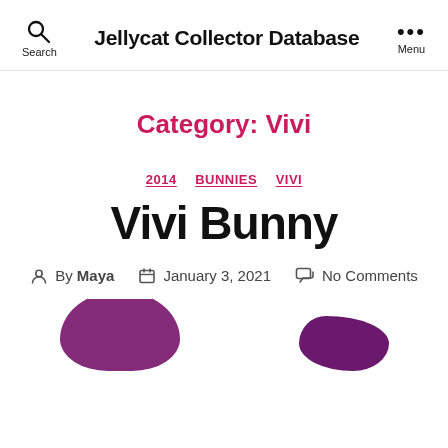Search | Jellycat Collector Database | Menu
Category: Vivi
2014  BUNNIES  VIVI
Vivi Bunny
By Maya  January 3, 2021  No Comments
[Figure (photo): Partial view of purple/magenta Jellycat Vivi Bunny plush toy, showing ears and body at bottom of page]